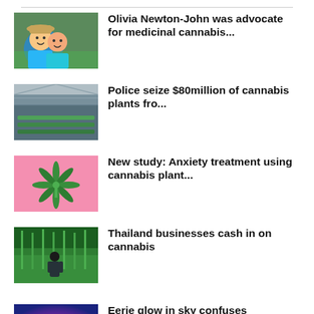[Figure (photo): Two people smiling, one wearing a hat, outdoors with green plants]
Olivia Newton-John was advocate for medicinal cannabis...
[Figure (photo): Greenhouse with cannabis plants rows]
Police seize $80million of cannabis plants fro...
[Figure (photo): Cannabis leaf on pink background]
New study: Anxiety treatment using cannabis plant...
[Figure (photo): Person in a field of tall plants, Thailand]
Thailand businesses cash in on cannabis
[Figure (photo): Eerie pink/purple glowing light over dark landscape with trees]
Eerie glow in sky confuses Australian town and outs...
[Figure (photo): Close-up of cannabis leaves green]
Regular cannabis use now more accepted...